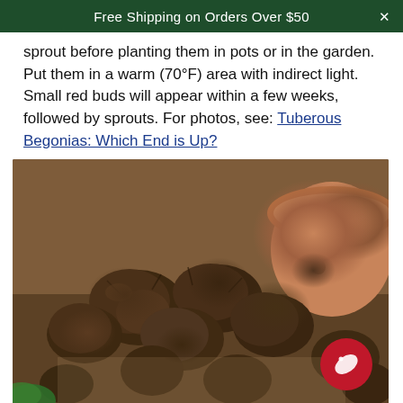Free Shipping on Orders Over $50
sprout before planting them in pots or in the garden. Put them in a warm (70°F) area with indirect light. Small red buds will appear within a few weeks, followed by sprouts. For photos, see: Tuberous Begonias: Which End is Up?
[Figure (photo): A pile of tuberous begonia tubers/bulbs on burlap fabric with a terracotta pot in the background, and a red price tag badge in the lower right corner.]